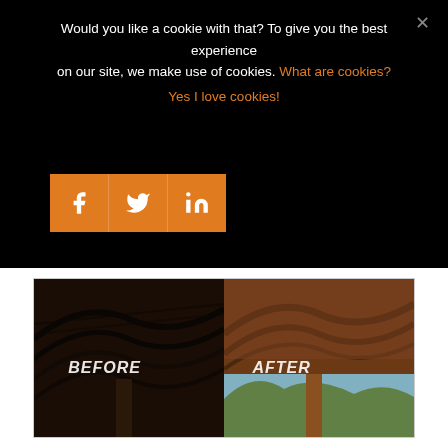Would you like a cookie with that? To give you the best experience on our site, we make use of cookies. What are cookies?
Yes I love cookies!
[Figure (screenshot): Social sharing buttons for Facebook, Twitter, and LinkedIn in orange square buttons]
[Figure (photo): Before and after comparison photo of a patio/pergola ceiling area showing darker before state on left and lighter restored after state on right, with mountain landscape visible]